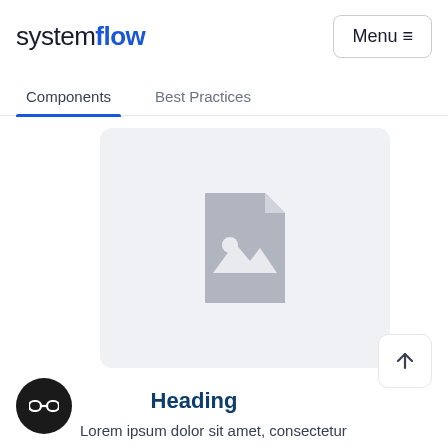systemflow   Menu
Components   Best Practices
[Figure (illustration): Placeholder image card with a grey document icon showing an image placeholder symbol (mountain/landscape with sun) on a light grey background with rounded corners]
Heading
Lorem ipsum dolor sit amet, consectetur adipiscing elit. Suspendisse varius enim